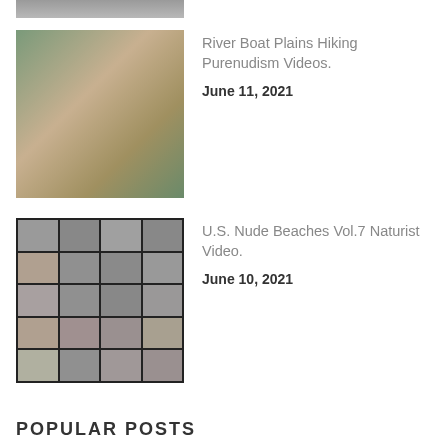[Figure (photo): Top strip of a photo partially visible at top of page]
[Figure (photo): Photo of a person outdoors in nature setting]
River Boat Plains Hiking Purenudism Videos.
June 11, 2021
[Figure (photo): Grid of thumbnail images showing beach scenes]
U.S. Nude Beaches Vol.7 Naturist Video.
June 10, 2021
POPULAR POSTS